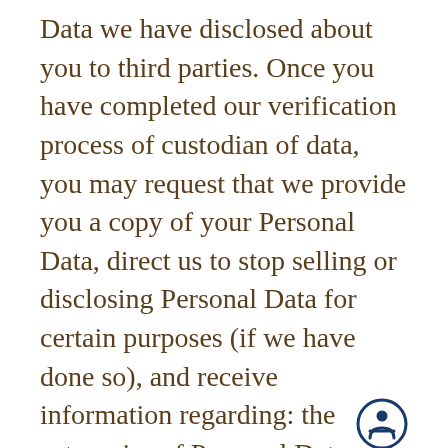Data we have disclosed about you to third parties. Once you have completed our verification process of custodian of data, you may request that we provide you a copy of your Personal Data, direct us to stop selling or disclosing Personal Data for certain purposes (if we have done so), and receive information regarding: the categories of Personal Data we have collected about you, or that we have sold, or disclosed; the business or commercial purpose for which we collected or sold your Personal Data; the third parties with whom we have disclosed your Personal Data, or sold, or disclosed it for a business purpose.